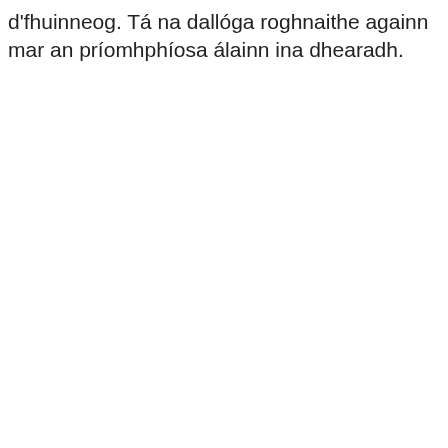d'fhuinneog. Tá na dallóga roghnaithe againn mar an príomhphíosa álainn ina dhearadh.